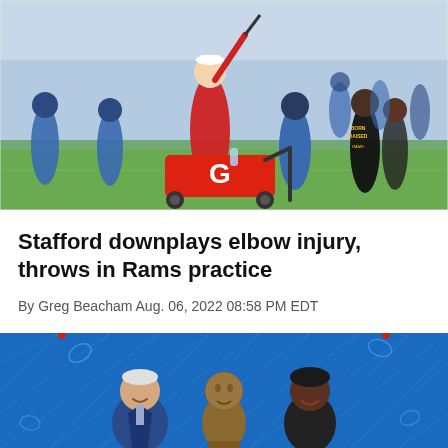[Figure (photo): NFL Los Angeles Rams practice photo showing players and staff on the field with a red Gatorade cooler/cart in the foreground. Players in blue uniforms visible in the background, staff member in red shirt in the center.]
Stafford downplays elbow injury, throws in Rams practice
By Greg Beacham Aug. 06, 2022 08:58 PM EDT
[Figure (photo): Three people posing together in front of a blue NFL/Rams themed backdrop with diamond pattern. An older man in a suit on the left, a bronze bust/trophy in the center, and a woman on the right.]